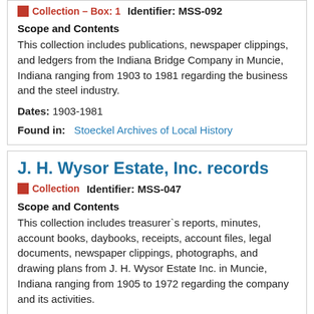Collection – Box: 1   Identifier: MSS-092
Scope and Contents
This collection includes publications, newspaper clippings, and ledgers from the Indiana Bridge Company in Muncie, Indiana ranging from 1903 to 1981 regarding the business and the steel industry.
Dates: 1903-1981
Found in:   Stoeckel Archives of Local History
J. H. Wysor Estate, Inc. records
Collection   Identifier: MSS-047
Scope and Contents
This collection includes treasurer`s reports, minutes, account books, daybooks, receipts, account files, legal documents, newspaper clippings, photographs, and drawing plans from J. H. Wysor Estate Inc. in Muncie, Indiana ranging from 1905 to 1972 regarding the company and its activities.
Dates: 1905-1972